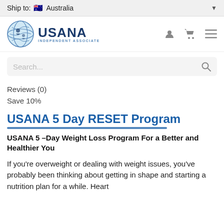Ship to: 🇦🇺 Australia
[Figure (logo): USANA Independent Associate logo with globe icon]
Search...
Reviews (0)
Save 10%
USANA 5 Day RESET Program
USANA 5 -Day Weight Loss Program For a Better and Healthier You
If you're overweight or dealing with weight issues, you've probably been thinking about getting in shape and starting a nutrition plan for a while. Heart